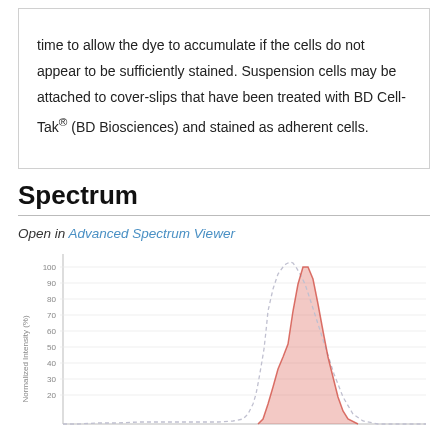time to allow the dye to accumulate if the cells do not appear to be sufficiently stained. Suspension cells may be attached to cover-slips that have been treated with BD Cell-Tak® (BD Biosciences) and stained as adherent cells.
Spectrum
Open in Advanced Spectrum Viewer
[Figure (continuous-plot): Normalized intensity (%) spectrum chart showing an emission/excitation curve with a dashed outline line and a salmon/red shaded area under the curve. The curve rises sharply to a peak of 100% and then descends, with the shaded region representing the emission spectrum. Y-axis labeled 'Normalized Intensity (%)' ranging from ~20 to 100, x-axis not fully visible.]